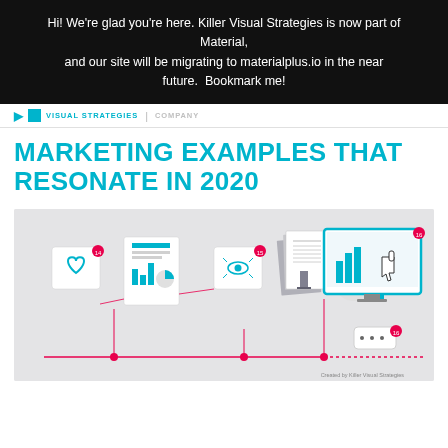Hi! We're glad you're here. Killer Visual Strategies is now part of Material, and our site will be migrating to materialplus.io in the near future.  Bookmark me!
VISUAL STRATEGIES | COMPANY
MARKETING EXAMPLES THAT RESONATE IN 2020
[Figure (infographic): Marketing infographic showing various content types connected by a pink timeline: heart icon, document/report icon, eye icon, bar/pie charts, stacked documents, donut chart, desktop monitor with bar chart and cursor hand, speech bubble, all on a light gray background. Created by Killer Visual Strategies.]